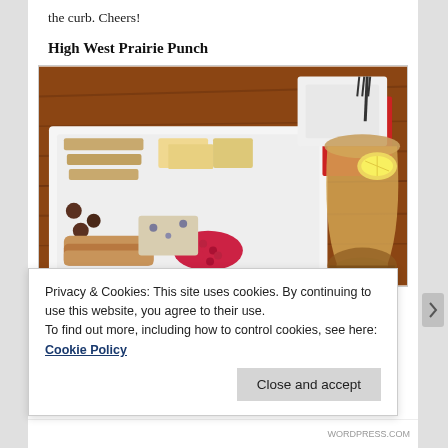the curb. Cheers!
High West Prairie Punch
[Figure (photo): A charcuterie/cheese board on a wooden surface with crackers, sliced cheeses, olives, pomegranate seeds, a small loaf of bread, and a glass of punch with a lemon slice. Red napkin and fork visible in background.]
Privacy & Cookies: This site uses cookies. By continuing to use this website, you agree to their use.
To find out more, including how to control cookies, see here: Cookie Policy
Close and accept